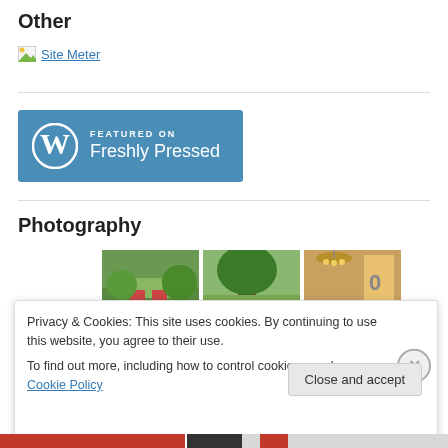Other
[Figure (illustration): Broken image icon followed by 'Site Meter' text link]
[Figure (logo): WordPress 'Featured on Freshly Pressed' banner — blue rectangle with WordPress W logo, text FEATURED ON and Freshly Pressed in white]
Photography
[Figure (photo): Three photography thumbnail images in a row: outdoor garden scene, tree photo, interior scene with chandelier and number 0]
Privacy & Cookies: This site uses cookies. By continuing to use this website, you agree to their use.
To find out more, including how to control cookies, see here: Cookie Policy
Close and accept